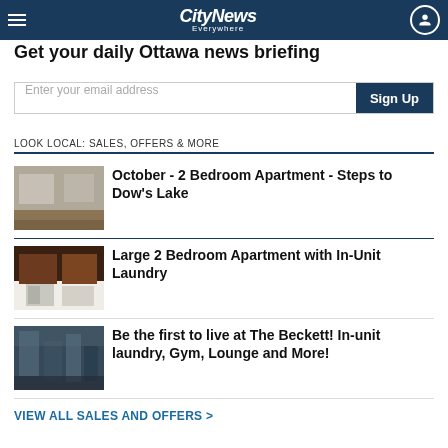CityNews Everywhere
Get your daily Ottawa news briefing
Enter your email address  Sign Up
LOOK LOCAL: SALES, OFFERS & MORE
[Figure (photo): Interior of an apartment with hardwood floors and windows]
October - 2 Bedroom Apartment - Steps to Dow's Lake
[Figure (photo): Kitchen with dark wood cabinets and stainless steel appliances]
Large 2 Bedroom Apartment with In-Unit Laundry
[Figure (photo): Aerial view of city buildings and skyline]
Be the first to live at The Beckett! In-unit laundry, Gym, Lounge and More!
VIEW ALL SALES AND OFFERS >